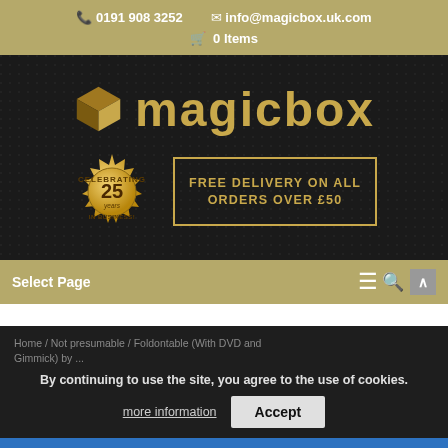0191 908 3252  info@magicbox.uk.com  0 Items
[Figure (logo): Magicbox logo with gold box icon and gold text 'magicbox' on dark background, with '25 years Celebrating In Business' badge and 'FREE DELIVERY ON ALL ORDERS OVER £50' banner]
Select Page
Home / Not presumable / Foldontable (With DVD and Gimmick) by ...
By continuing to use the site, you agree to the use of cookies.
more information  Accept
20% OFF FOR NON UK CUSTOMERS Dismiss